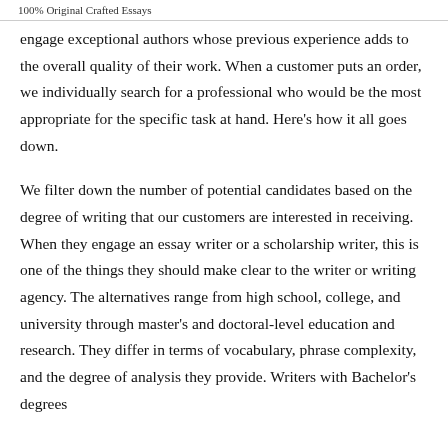100% Original Crafted Essays
engage exceptional authors whose previous experience adds to the overall quality of their work. When a customer puts an order, we individually search for a professional who would be the most appropriate for the specific task at hand. Here’s how it all goes down.
We filter down the number of potential candidates based on the degree of writing that our customers are interested in receiving. When they engage an essay writer or a scholarship writer, this is one of the things they should make clear to the writer or writing agency. The alternatives range from high school, college, and university through master’s and doctoral-level education and research. They differ in terms of vocabulary, phrase complexity, and the degree of analysis they provide. Writers with Bachelor’s degrees